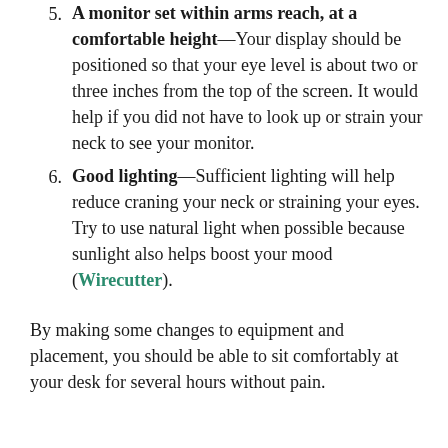5. A monitor set within arms reach, at a comfortable height—Your display should be positioned so that your eye level is about two or three inches from the top of the screen. It would help if you did not have to look up or strain your neck to see your monitor.
6. Good lighting—Sufficient lighting will help reduce craning your neck or straining your eyes. Try to use natural light when possible because sunlight also helps boost your mood (Wirecutter).
By making some changes to equipment and placement, you should be able to sit comfortably at your desk for several hours without pain.